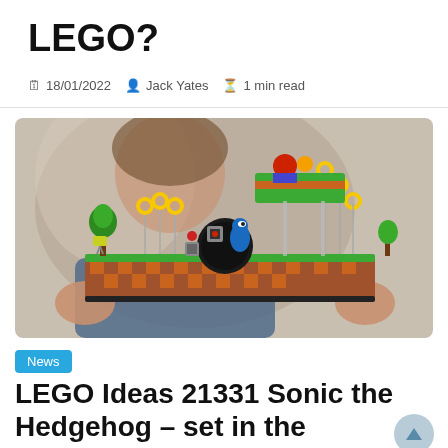LEGO?
18/01/2022  Jack Yates  1 min read
[Figure (photo): A woman holding a LEGO Ideas 21331 Sonic the Hedgehog Green Hill Zone set, showing Sonic figure, rings, trees, and checkered platform details.]
News
LEGO Ideas 21331 Sonic the Hedgehog – set in the